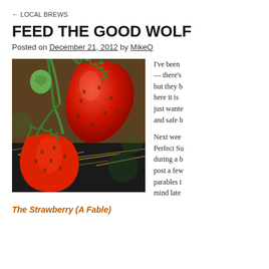← LOCAL BREWS
FEED THE GOOD WOLF
Posted on December 21, 2012 by MikeQ
[Figure (photo): Close-up photograph of ripe red strawberries growing on a plant with green stems and unripe green strawberries, resting on straw and dark plastic mulch]
I've been — there's but they b here it is just wante and safe b
Next wee Perfect Su during a b post a few parables t mind late
The Strawberry (A Fable)